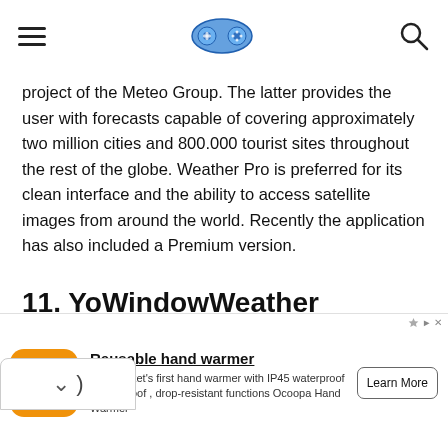[hamburger menu] [gamepad logo icon] [search icon]
project of the Meteo Group. The latter provides the user with forecasts capable of covering approximately two million cities and 800.000 tourist sites throughout the rest of the globe. Weather Pro is preferred for its clean interface and the ability to access satellite images from around the world. Recently the application has also included a Premium version.
11. YoWindowWeather (Android,
[Figure (screenshot): Advertisement banner: Ocoopa orange logo with hand warmer product ad. Title: 'Reusable hand warmer'. Body: 'The market's first hand warmer with IP45 waterproof & dustproof , drop-resistant functions Ocoopa Hand Warmer'. Button: 'Learn More'. Sponsored label top right.]